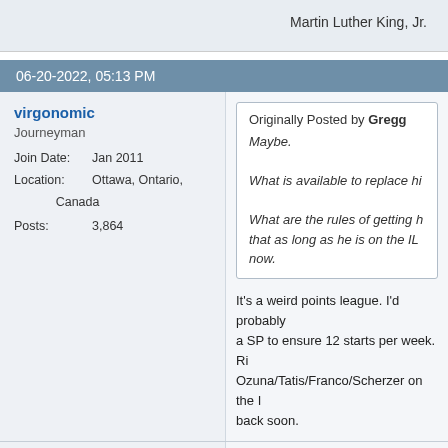Martin Luther King, Jr.
06-20-2022, 05:13 PM
virgonomic
Journeyman
Join Date:   Jan 2011
Location:    Ottawa, Ontario, Canada
Posts:       3,864
Originally Posted by Gregg
Maybe.
What is available to replace hi...
What are the rules of getting h... that as long as he is on the IL ... now.
It's a weird points league. I'd probably... a SP to ensure 12 starts per week. Ri... Ozuna/Tatis/Franco/Scherzer on the I... back soon.
Ottawa Triple Eh's | P.I.M.P.S. | 14 tea... Champions 16,21 | Runner up 17,19-...